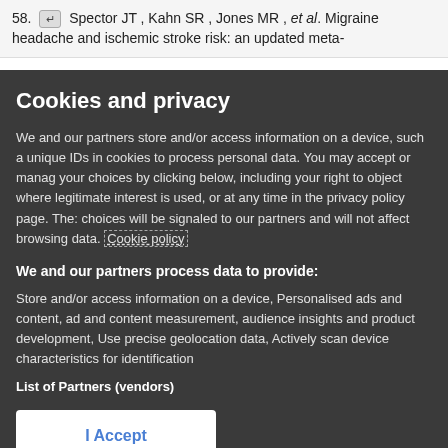58. ↵ Spector JT , Kahn SR , Jones MR , et al. Migraine headache and ischemic stroke risk: an updated meta-
Cookies and privacy
We and our partners store and/or access information on a device, such as unique IDs in cookies to process personal data. You may accept or manage your choices by clicking below, including your right to object where legitimate interest is used, or at any time in the privacy policy page. These choices will be signaled to our partners and will not affect browsing data. Cookie policy
We and our partners process data to provide:
Store and/or access information on a device, Personalised ads and content, ad and content measurement, audience insights and product development, Use precise geolocation data, Actively scan device characteristics for identification
List of Partners (vendors)
I Accept